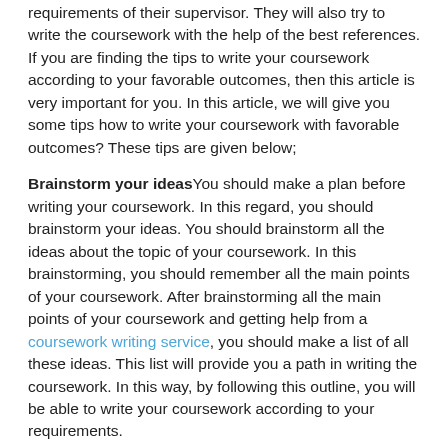requirements of their supervisor. They will also try to write the coursework with the help of the best references. If you are finding the tips to write your coursework according to your favorable outcomes, then this article is very important for you. In this article, we will give you some tips how to write your coursework with favorable outcomes? These tips are given below;
Brainstorm your ideasYou should make a plan before writing your coursework. In this regard, you should brainstorm your ideas. You should brainstorm all the ideas about the topic of your coursework. In this brainstorming, you should remember all the main points of your coursework. After brainstorming all the main points of your coursework and getting help from a coursework writing service, you should make a list of all these ideas. This list will provide you a path in writing the coursework. In this way, by following this outline, you will be able to write your coursework according to your requirements.
Questions to considerIf you want to write your coursework with favorable outcomes, then you should keep in mind the